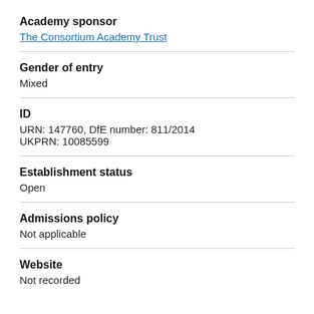Academy sponsor
The Consortium Academy Trust
Gender of entry
Mixed
ID
URN: 147760, DfE number: 811/2014
UKPRN: 10085599
Establishment status
Open
Admissions policy
Not applicable
Website
Not recorded